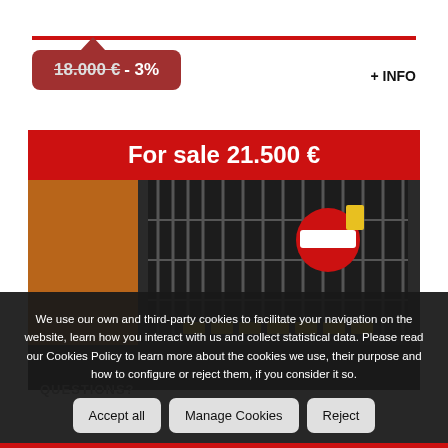18.000 € - 3%
+ INFO
For sale 21.500 €
[Figure (photo): Garage parking space interior photo showing metal gate/grill, orange wall, no-entry road sign, and illuminated yellow lights]
We use our own and third-party cookies to facilitate your navigation on the website, learn how you interact with us and collect statistical data. Please read our Cookies Policy to learn more about the cookies we use, their purpose and how to configure or reject them, if you consider it so.
Accept all
Manage Cookies
Reject
QUESTIONS?